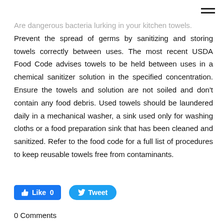Are dangerous bacteria lurking in your kitchen towels? Prevent the spread of germs by sanitizing and storing towels correctly between uses. The most recent USDA Food Code advises towels to be held between uses in a chemical sanitizer solution in the specified concentration. Ensure the towels and solution are not soiled and don't contain any food debris. Used towels should be laundered daily in a mechanical washer, a sink used only for washing cloths or a food preparation sink that has been cleaned and sanitized. Refer to the food code for a full list of procedures to keep reusable towels free from contaminants.
[Figure (other): Facebook Like button (0 likes) and Twitter Tweet button]
0 Comments